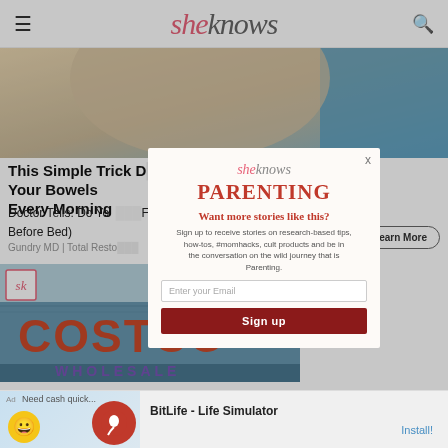sheknows
[Figure (photo): Hero image showing a person, partially cropped, with light blue and cream tones]
This Simple Trick D... ately Your Bowels Every Morning
Doctor Tells: Do Yo... Fat? (Eat This Before Bed)
Gundry MD | Total Resto...
Learn More
[Figure (photo): Costco Wholesale store exterior sign with orange letters on blue/grey building]
[Figure (screenshot): Modal popup for SheKnows Parenting newsletter signup with email input and Sign up button]
sheknows PARENTING Want more stories like this? Sign up to receive stories on research-based tips, how-tos, #momhacks, cult products and be in the conversation on the wild journey that is Parenting.
Enter your Email
Sign up
Ad BitLife - Life Simulator Install!